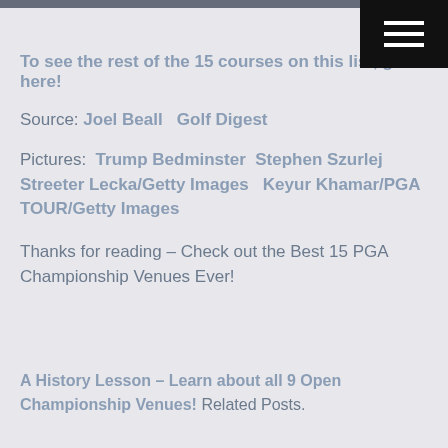To see the rest of the 15 courses on this list, go here!
Source: Joel Beall   Golf Digest
Pictures:  Trump Bedminster  Stephen Szurlej  Streeter Lecka/Getty Images   Keyur Khamar/PGA TOUR/Getty Images
Thanks for reading – Check out the Best 15 PGA Championship Venues Ever!
A History Lesson – Learn about all 9 Open Championship Venues! Related Posts.